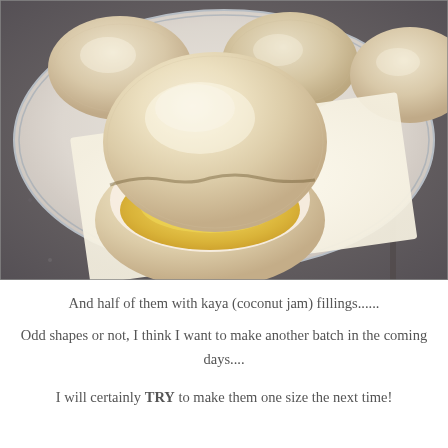[Figure (photo): A close-up photo of a split-open steamed bun (pao/bao) filled with kaya (coconut jam) filling, golden yellow inside, sitting on parchment paper on a plate. Several whole buns visible in the background on a white plate with blue rim, placed on a grey granite surface.]
And half of them with kaya (coconut jam) fillings......
Odd shapes or not, I think I want to make another batch in the coming days....
I will certainly TRY to make them one size the next time!